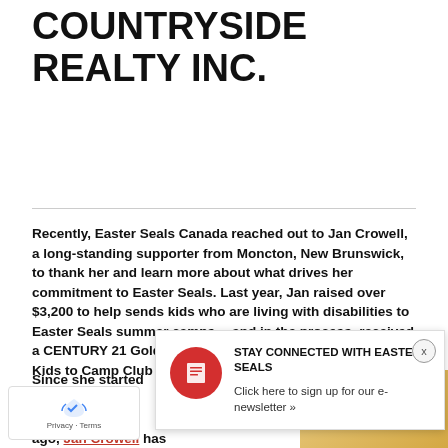COUNTRYSIDE REALTY INC.
Recently, Easter Seals Canada reached out to Jan Crowell, a long-standing supporter from Moncton, New Brunswick, to thank her and learn more about what drives her commitment to Easter Seals. Last year, Jan raised over $3,200 to help sends kids who are living with disabilities to Easter Seals summer camps… and in the process, received a CENTURY 21 Golden Heart Award and became a 2018 C21 Kids to Camp Club Memb
[Figure (infographic): Popup overlay: STAY CONNECTED WITH EASTER SEALS - Click here to sign up for our e-newsletter »]
Since she started [trails] as a [REALTOR®] 35 years ago, Jan Crowell has